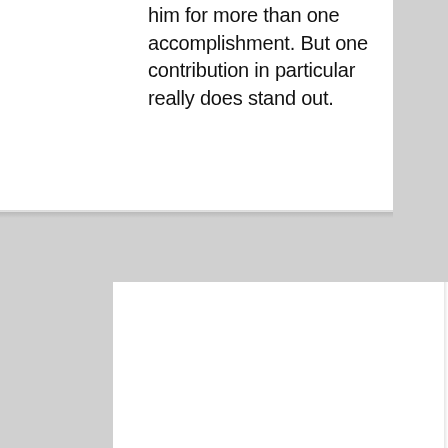him for more than one accomplishment. But one contribution in particular really does stand out.